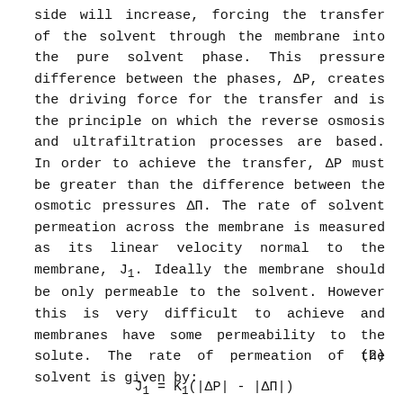side will increase, forcing the transfer of the solvent through the membrane into the pure solvent phase. This pressure difference between the phases, ΔP, creates the driving force for the transfer and is the principle on which the reverse osmosis and ultrafiltration processes are based. In order to achieve the transfer, ΔP must be greater than the difference between the osmotic pressures ΔΠ. The rate of solvent permeation across the membrane is measured as its linear velocity normal to the membrane, J₁. Ideally the membrane should be only permeable to the solvent. However this is very difficult to achieve and membranes have some permeability to the solute. The rate of permeation of the solvent is given by: